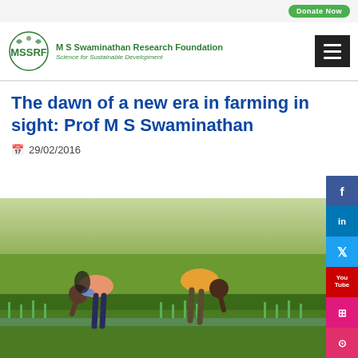Donate Now
[Figure (logo): MSSRF logo — M S Swaminathan Research Foundation, Science for Sustainable Development]
The dawn of a new era in farming in sight: Prof M S Swaminathan
29/02/2016
[Figure (photo): Two farmers bending over to plant rice seedlings in a paddy field with green shoots visible]